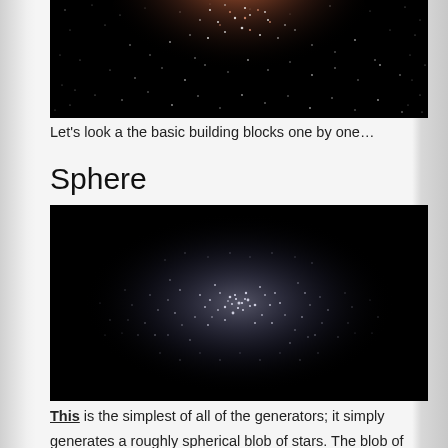[Figure (photo): Top portion of a star cluster image showing dense cluster of stars with orange/reddish center on black background - cropped, showing only bottom portion of the image]
Let's look a the basic building blocks one by one…
Sphere
[Figure (photo): A roughly spherical blob of stars (white/blue-white) distributed on a black background, denser in the middle and fading outward - sphere star generator visualization]
This is the simplest of all of the generators; it simply generates a roughly spherical blob of stars. The blob of stars is denser in the middle and slowly fades to nothing…